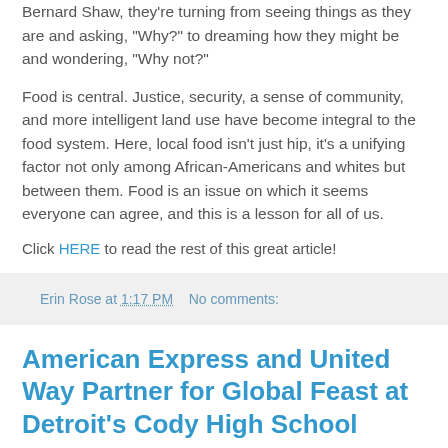Bernard Shaw, they're turning from seeing things as they are and asking, “Why?” to dreaming how they might be and wondering, “Why not?”
Food is central. Justice, security, a sense of community, and more intelligent land use have become integral to the food system. Here, local food isn’t just hip, it’s a unifying factor not only among African-Americans and whites but between them. Food is an issue on which it seems everyone can agree, and this is a lesson for all of us.
Click HERE to read the rest of this great article!
Erin Rose at 1:17 PM   No comments:
American Express and United Way Partner for Global Feast at Detroit’s Cody High School